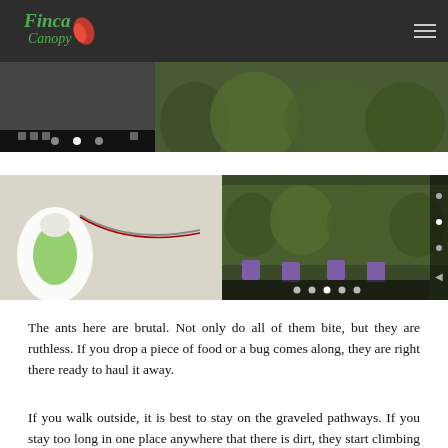Finca Canopy
[Figure (photo): Top left: dark background with image carousel controls showing dots and dashes. Top right: green foliage/garden photo.]
[Figure (photo): Middle left: close-up photo of a green bottle/container with wires/cables on a light surface. Middle right: photo of dense green bushes/hedges with purple plant labels, with vertical navigation dots on right side and bottom carousel controls.]
The ants here are brutal. Not only do all of them bite, but they are ruthless. If you drop a piece of food or a bug comes along, they are right there ready to haul it away.
If you walk outside, it is best to stay on the graveled pathways. If you stay too long in one place anywhere that there is dirt, they start climbing your legs and biting